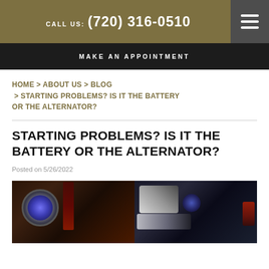CALL US: (720) 316-0510
MAKE AN APPOINTMENT
HOME > ABOUT US > BLOG > STARTING PROBLEMS? IS IT THE BATTERY OR THE ALTERNATOR?
STARTING PROBLEMS? IS IT THE BATTERY OR THE ALTERNATOR?
Posted on 5/26/2022
[Figure (photo): Two close-up photos of car engine components side by side, showing circular metallic parts with blue illumination on the left and white/grey mechanical components on the right.]